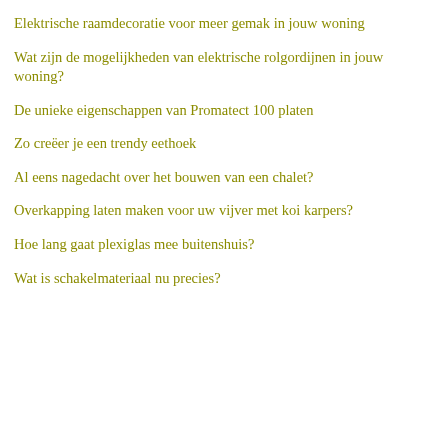Elektrische raamdecoratie voor meer gemak in jouw woning
Wat zijn de mogelijkheden van elektrische rolgordijnen in jouw woning?
De unieke eigenschappen van Promatect 100 platen
Zo creëer je een trendy eethoek
Al eens nagedacht over het bouwen van een chalet?
Overkapping laten maken voor uw vijver met koi karpers?
Hoe lang gaat plexiglas mee buitenshuis?
Wat is schakelmateriaal nu precies?